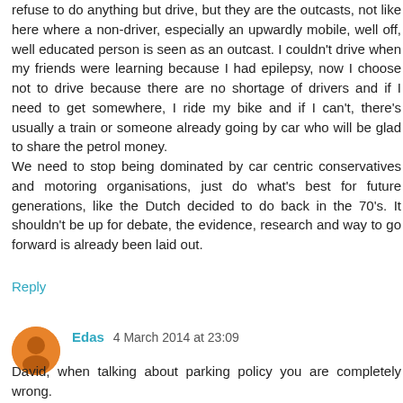refuse to do anything but drive, but they are the outcasts, not like here where a non-driver, especially an upwardly mobile, well off, well educated person is seen as an outcast. I couldn't drive when my friends were learning because I had epilepsy, now I choose not to drive because there are no shortage of drivers and if I need to get somewhere, I ride my bike and if I can't, there's usually a train or someone already going by car who will be glad to share the petrol money.
We need to stop being dominated by car centric conservatives and motoring organisations, just do what's best for future generations, like the Dutch decided to do back in the 70's. It shouldn't be up for debate, the evidence, research and way to go forward is already been laid out.
Reply
Edas  4 March 2014 at 23:09
David, when talking about parking policy you are completely wrong.
Even in such a small town as Assen parking is either far away from entrance to the destination (means